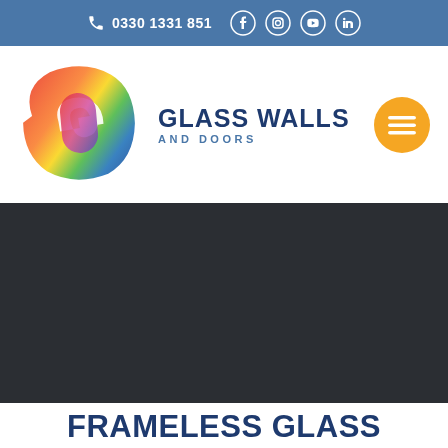0330 1331 851
[Figure (logo): Glass Walls and Doors logo with colorful G emblem]
[Figure (photo): Dark hero image background section]
FRAMELESS GLASS DOORS